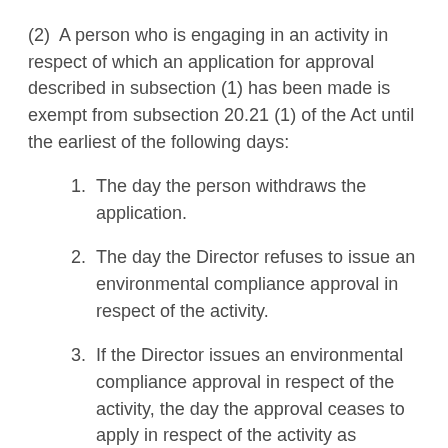(2)  A person who is engaging in an activity in respect of which an application for approval described in subsection (1) has been made is exempt from subsection 20.21 (1) of the Act until the earliest of the following days:
1. The day the person withdraws the application.
2. The day the Director refuses to issue an environmental compliance approval in respect of the activity.
3. If the Director issues an environmental compliance approval in respect of the activity, the day the approval ceases to apply in respect of the activity as